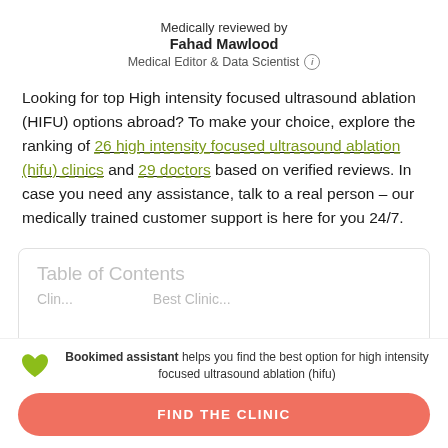Medically reviewed by
Fahad Mawlood
Medical Editor & Data Scientist
Looking for top High intensity focused ultrasound ablation (HIFU) options abroad? To make your choice, explore the ranking of 26 high intensity focused ultrasound ablation (hifu) clinics and 29 doctors based on verified reviews. In case you need any assistance, talk to a real person – our medically trained customer support is here for you 24/7.
Table of Contents
Bookimed assistant helps you find the best option for high intensity focused ultrasound ablation (hifu)
FIND THE CLINIC